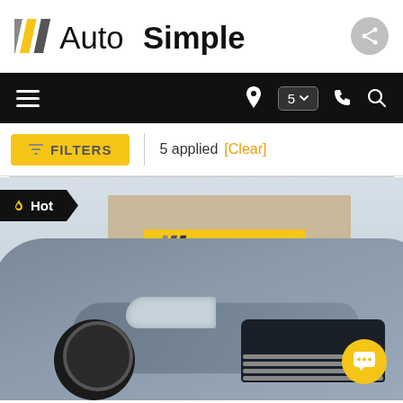[Figure (logo): Auto Simple logo with yellow and grey diagonal stripes, bold text 'Auto Simple']
[Figure (screenshot): Mobile app navigation bar with hamburger menu, location pin icon, location count dropdown showing '5', phone icon, and search icon on black background]
FILTERS | 5 applied [Clear]
[Figure (photo): Front 3/4 view of a grey Ford Fusion parked in front of an Auto Simple dealership. A 'Hot' badge is visible in the top-left corner. A yellow chat button is in the bottom-right corner.]